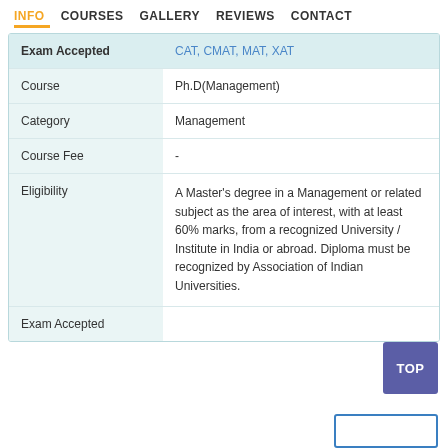INFO  COURSES  GALLERY  REVIEWS  CONTACT
| Exam Accepted | CAT, CMAT, MAT, XAT |
| Course | Ph.D(Management) |
| Category | Management |
| Course Fee | - |
| Eligibility | A Master's degree in a Management or related subject as the area of interest, with at least 60% marks, from a recognized University / Institute in India or abroad. Diploma must be recognized by Association of Indian Universities. |
| Exam Accepted |  |